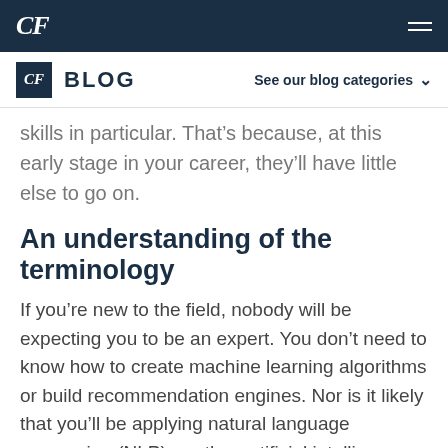CF
CF BLOG  See our blog categories
skills in particular. That’s because, at this early stage in your career, they’ll have little else to go on.
An understanding of the terminology
If you’re new to the field, nobody will be expecting you to be an expert. You don’t need to know how to create machine learning algorithms or build recommendation engines. Nor is it likely that you’ll be applying natural language processing (NLP) or other artificial intelligence techniques. All these